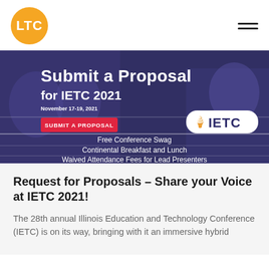LTC
[Figure (infographic): Banner advertisement for IETC 2021 conference. Shows 'Submit a Proposal for IETC 2021, November 17-19, 2021' with a red 'SUBMIT A PROPOSAL' button, an IETC logo on the right, and three benefit lines: 'Free Conference Swag', 'Continental Breakfast and Lunch', 'Waived Attendance Fees for Lead Presenters'.]
Request for Proposals – Share your Voice at IETC 2021!
The 28th annual Illinois Education and Technology Conference (IETC) is on its way, bringing with it an immersive hybrid